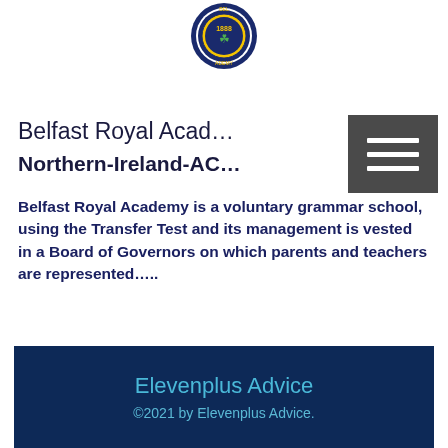[Figure (logo): Belfast Royal Academy circular school badge/crest with '1888' text, navy blue border with shamrock emblem]
Belfast Royal Acad…
Northern-Ireland-AC…
Belfast Royal Academy is a voluntary grammar school, using the Transfer Test and its management is vested in a Board of Governors on which parents and teachers are represented…..
Read entrance requirements
Elevenplus Advice
©2021 by Elevenplus Advice.